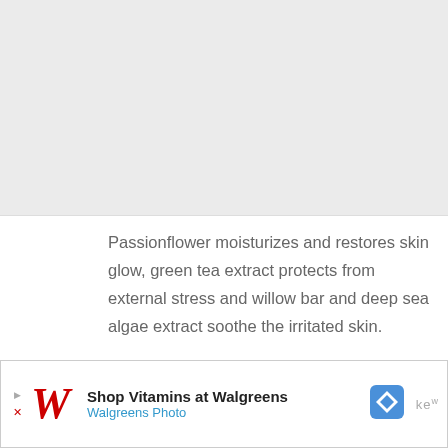[Figure (photo): Product image placeholder at the top of the page]
Passionflower moisturizes and restores skin glow, green tea extract protects from external stress and willow bar and deep sea algae extract soothe the irritated skin.
You can control the level of exfoliation with this product by massaging the soap all over your body or lathering it in your hands, that applying.
[Figure (other): Walgreens advertisement banner: Shop Vitamins at Walgreens - Walgreens Photo]